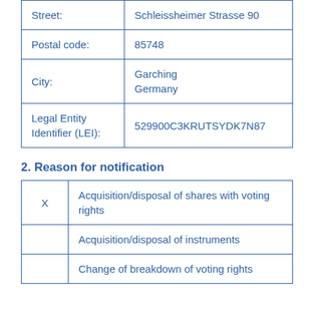| Field | Value |
| --- | --- |
| Street: | Schleissheimer Strasse 90 |
| Postal code: | 85748 |
| City: | Garching
Germany |
| Legal Entity Identifier (LEI): | 529900C3KRUTSYDK7N87 |
2. Reason for notification
| Check | Reason |
| --- | --- |
| X | Acquisition/disposal of shares with voting rights |
|  | Acquisition/disposal of instruments |
|  | Change of breakdown of voting rights |